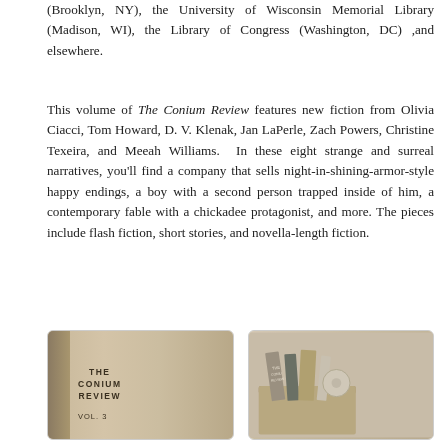(Brooklyn, NY), the University of Wisconsin Memorial Library (Madison, WI), the Library of Congress (Washington, DC) ,and elsewhere.
This volume of The Conium Review features new fiction from Olivia Ciacci, Tom Howard, D. V. Klenak, Jan LaPerle, Zach Powers, Christine Texeira, and Meeah Williams.  In these eight strange and surreal narratives, you'll find a company that sells night-in-shining-armor-style happy endings, a boy with a second person trapped inside of him, a contemporary fable with a chickadee protagonist, and more. The pieces include flash fiction, short stories, and novella-length fiction.
[Figure (photo): Photo of a book standing upright with text 'THE CONIUM REVIEW VOL. 3' on the cover, beige/tan colored]
[Figure (photo): Photo of multiple books/publications stacked or leaning, including what appears to be The Conium Review, on a light surface]